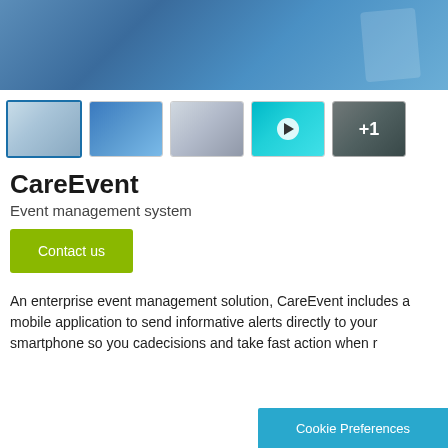[Figure (photo): Hero image showing a medical professional in blue scrubs holding a tablet device]
[Figure (photo): Thumbnail gallery showing 5 images: nurse at workstation, medical staff with patients, hospital corridor, animated surgery video, and one more (+1)]
CareEvent
Event management system
Contact us
An enterprise event management solution, CareEvent includes a mobile application to send informative alerts directly to your smartphone so you ca... decisions and take fast action when re...
Cookie Preferences